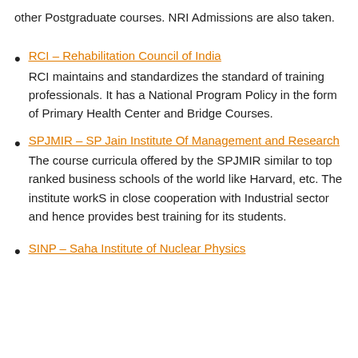other Postgraduate courses. NRI Admissions are also taken.
RCI – Rehabilitation Council of India
RCI maintains and standardizes the standard of training professionals. It has a National Program Policy in the form of Primary Health Center and Bridge Courses.
SPJMIR – SP Jain Institute Of Management and Research
The course curricula offered by the SPJMIR similar to top ranked business schools of the world like Harvard, etc. The institute workS in close cooperation with Industrial sector and hence provides best training for its students.
SINP – Saha Institute of Nuclear Physics